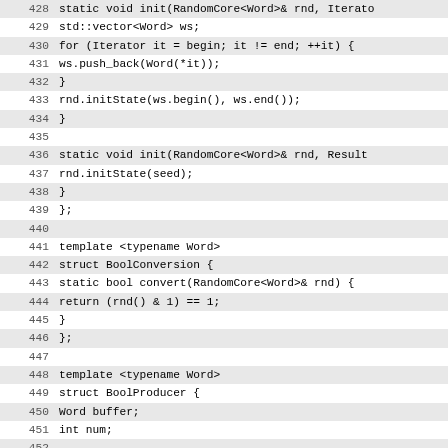[Figure (screenshot): Source code listing showing C++ template structs: lines 428-459, including init functions, BoolConversion struct, and BoolProducer struct with convert method]